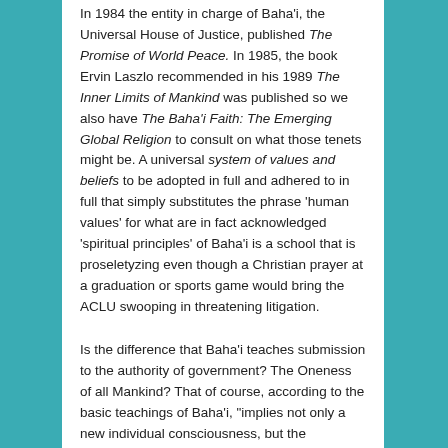In 1984 the entity in charge of Baha'i, the Universal House of Justice, published The Promise of World Peace. In 1985, the book Ervin Laszlo recommended in his 1989 The Inner Limits of Mankind was published so we also have The Baha'i Faith: The Emerging Global Religion to consult on what those tenets might be. A universal system of values and beliefs to be adopted in full and adhered to in full that simply substitutes the phrase 'human values' for what are in fact acknowledged 'spiritual principles' of Baha'i is a school that is proseletyzing even though a Christian prayer at a graduation or sports game would bring the ACLU swooping in threatening litigation.
Is the difference that Baha'i teaches submission to the authority of government? The Oneness of all Mankind? That of course, according to the basic teachings of Baha'i, "implies not only a new individual consciousness, but the establishment of the unity of nations, of world government, and ultimately of a planetary civilization." All this from a book advocating for Baha'i and insisting that "We must express unity by building a truly universal and unified social system based on spiritual principles. The